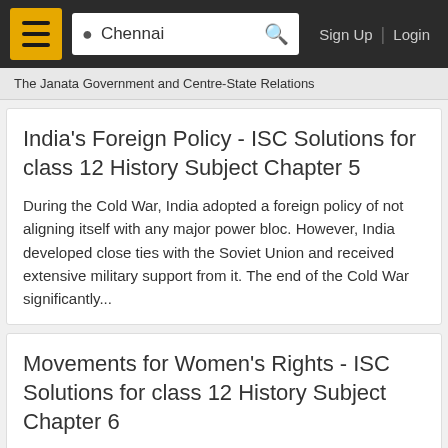Chennai | Sign Up | Login
The Janata Government and Centre-State Relations
India's Foreign Policy - ISC Solutions for class 12 History Subject Chapter 5
During the Cold War, India adopted a foreign policy of not aligning itself with any major power bloc. However, India developed close ties with the Soviet Union and received extensive military support from it. The end of the Cold War significantly...
Movements for Women's Rights - ISC Solutions for class 12 History Subject Chapter 6
Women's rights movement, also called women's liberation movement, diverse social movement, largely based in the United States, that in the 1960s and '70s sought equal rights and opportunities and greater personal freedom for women. It coincided...
World War II - ISC Solutions for class 12 History Subject Chapter 7